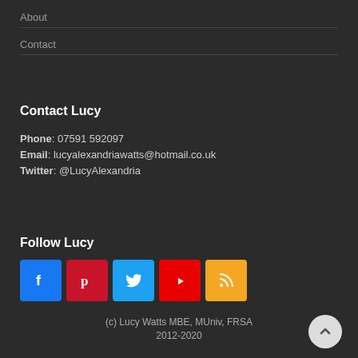About
Contact
Contact Lucy
Phone: 07591 592097
Email: lucyalexandriawatts@hotmail.co.uk
Twitter: @LucyAlexandria
Follow Lucy
[Figure (infographic): Row of five social media icon buttons: Facebook (blue), Pinterest (red), Twitter (light blue), YouTube (red), RSS (orange)]
(c) Lucy Watts MBE, MUniv, FRSA 2012-2020